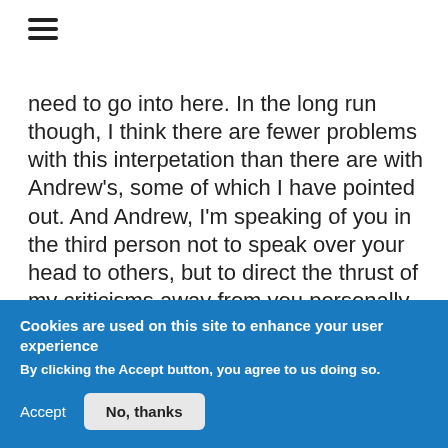[Figure (other): Hamburger menu icon (three horizontal lines)]
need to go into here. In the long run though, I think there are fewer problems with this interpetation than there are with Andrew's, some of which I have pointed out. And Andrew, I'm speaking of you in the third person not to speak over your head to others, but to direct the thrust of my criticisms away from you personally, and towards the arguments themselves. I am, I hope, still on speaking terms with you.
REPLY
Cookies are used on this site to enhance your user experience
By clicking the Accept button, you agree to us doing so.
Accept
No, thanks